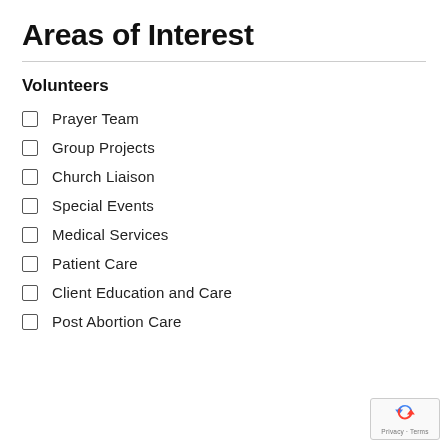Areas of Interest
Volunteers
Prayer Team
Group Projects
Church Liaison
Special Events
Medical Services
Patient Care
Client Education and Care
Post Abortion Care